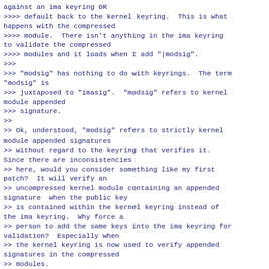against an ima keyring OR
>>>> default back to the kernel keyring.  This is what happens with the compressed
>>>> module.  There isn't anything in the ima keyring to validate the compressed
>>>> modules and it loads when I add "|modsig".
>>>
>>> "modsig" has nothing to do with keyrings.  The term "modsig" is
>>> juxtaposed to "imasig".  "modsig" refers to kernel module appended
>>> signature.
>>
>> Ok, understood, "modsig" refers to strictly kernel module appended signatures
>> without regard to the keyring that verifies it.  Since there are inconsistencies
>> here, would you consider something like my first patch?  It will verify an
>> uncompressed kernel module containing an appended signature  when the public key
>> is contained within the kernel keyring instead of the ima keyring.  Why force a
>> person to add the same keys into the ima keyring for validation?  Especially when
>> the kernel keyring is now used to verify appended signatures in the compressed
>> modules.
>
> Different use case scenarios have different